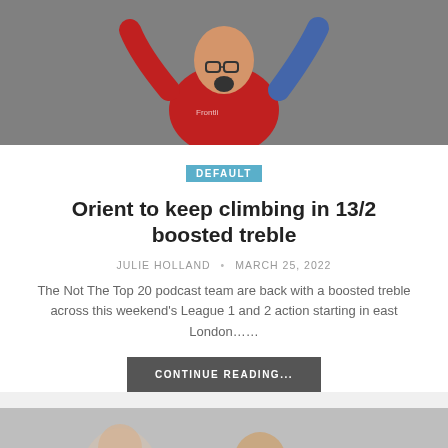[Figure (photo): A football fan in a red jersey with arms raised, appearing to be cheering or celebrating in a stadium setting.]
DEFAULT
Orient to keep climbing in 13/2 boosted treble
JULIE HOLLAND • MARCH 25, 2022
The Not The Top 20 podcast team are back with a boosted treble across this weekend's League 1 and 2 action starting in east London......
CONTINUE READING...
[Figure (photo): A man, likely a football manager or coach, standing in what appears to be a stadium dugout area.]